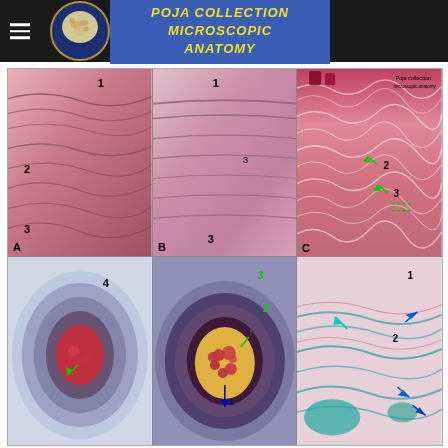POJA COLLECTION MICROSCOPIC ANATOMY
[Figure (photo): Six-panel grid of histological microscopy images showing microscopic anatomy of connective tissue and blood vessels. Top row: Panel A shows layered tissue cross-section with labels 1, 2, 3 (H&E stain, low magnification). Panel B shows fibrous tissue layers with labels 1, 3 (H&E stain). Panel C shows wavy collagen fibers with green arrow markers labeled 2, 3, 4 (high magnification). Bottom row: Panel D shows cross-section of artery/vein with concentric layers, label 4 and green arrow. Panel E shows blood vessel cross-section filled with red blood cells, labels 1, 2, 3, 4 with blue and green arrows (Masson trichrome stain). Panel F shows connective tissue with labels 1, 2, blue arrows (Masson trichrome stain). Poja collection microscopic anatomy watermark in panel C.]